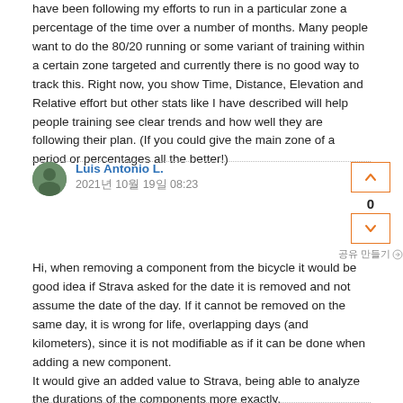have been following my efforts to run in a particular zone a percentage of the time over a number of months. Many people want to do the 80/20 running or some variant of training within a certain zone targeted and currently there is no good way to track this. Right now, you show Time, Distance, Elevation and Relative effort but other stats like I have described will help people training see clear trends and how well they are following their plan. (If you could give the main zone of a period or percentages all the better!)
Luis Antonio L.
2021년 10월 19일 08:23
Hi, when removing a component from the bicycle it would be good idea if Strava asked for the date it is removed and not assume the date of the day. If it cannot be removed on the same day, it is wrong for life, overlapping days (and kilometers), since it is not modifiable as if it can be done when adding a new component.
It would give an added value to Strava, being able to analyze the durations of the components more exactly.
Thank you for your time.